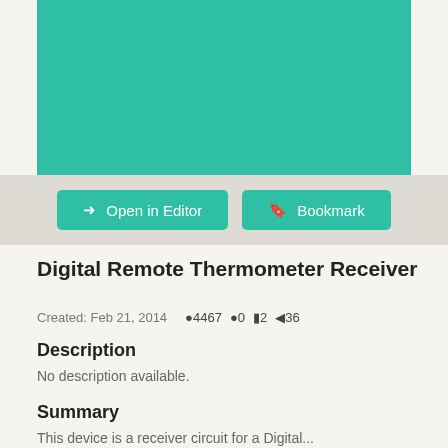[Figure (other): Teal/green colored header image area for a digital remote thermometer receiver project]
[Figure (screenshot): Button bar with 'Open in Editor' and 'Bookmark' buttons on a light gray background]
Digital Remote Thermometer Receiver
Created: Feb 21, 2014   ●4467  ●0  ■2  ◄36
Description
No description available.
Summary
This device is a receiver circuit for a Digital...